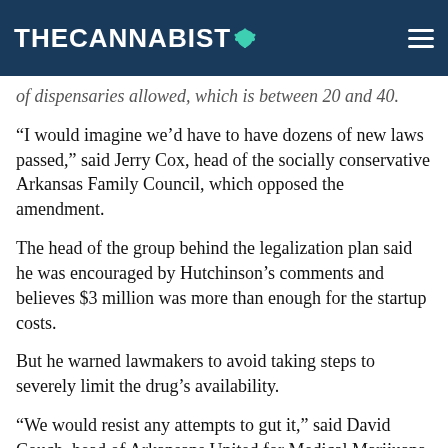THE CANNABIST
of dispensaries allowed, which is between 20 and 40.
“I would imagine we’d have to have dozens of new laws passed,” said Jerry Cox, head of the socially conservative Arkansas Family Council, which opposed the amendment.
The head of the group behind the legalization plan said he was encouraged by Hutchinson’s comments and believes $3 million was more than enough for the startup costs.
But he warned lawmakers to avoid taking steps to severely limit the drug’s availability.
“We would resist any attempts to gut it,” said David Couch, head of Arkansans United for Medical Marijuana.